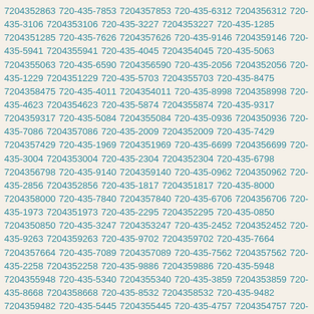7204352863 720-435-7853 7204357853 720-435-6312 7204356312 720-435-3106 7204353106 720-435-3227 7204353227 720-435-1285 7204351285 720-435-7626 7204357626 720-435-9146 7204359146 720-435-5941 7204355941 720-435-4045 7204354045 720-435-5063 7204355063 720-435-6590 7204356590 720-435-2056 7204352056 720-435-1229 7204351229 720-435-5703 7204355703 720-435-8475 7204358475 720-435-4011 7204354011 720-435-8998 7204358998 720-435-4623 7204354623 720-435-5874 7204355874 720-435-9317 7204359317 720-435-5084 7204355084 720-435-0936 7204350936 720-435-7086 7204357086 720-435-2009 7204352009 720-435-7429 7204357429 720-435-1969 7204351969 720-435-6699 7204356699 720-435-3004 7204353004 720-435-2304 7204352304 720-435-6798 7204356798 720-435-9140 7204359140 720-435-0962 7204350962 720-435-2856 7204352856 720-435-1817 7204351817 720-435-8000 7204358000 720-435-7840 7204357840 720-435-6706 7204356706 720-435-1973 7204351973 720-435-2295 7204352295 720-435-0850 7204350850 720-435-3247 7204353247 720-435-2452 7204352452 720-435-9263 7204359263 720-435-9702 7204359702 720-435-7664 7204357664 720-435-7089 7204357089 720-435-7562 7204357562 720-435-2258 7204352258 720-435-9886 7204359886 720-435-5948 7204355948 720-435-5340 7204355340 720-435-3859 7204353859 720-435-8668 7204358668 720-435-8532 7204358532 720-435-9482 7204359482 720-435-5445 7204355445 720-435-4757 7204354757 720-435-9860 7204359860 720-435-2633 7204352633 720-435-1924 7204351924 720-435-6423 7204356423 720-435-1595 7204351595 720-435-1424 7204351424 720-435-5163 7204355163 720-435-4242